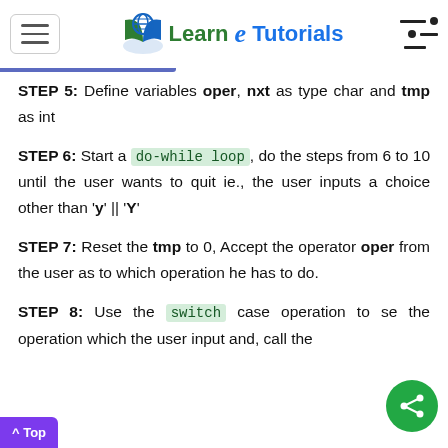Learn e Tutorials
STEP 5: Define variables oper, nxt as type char and tmp as int
STEP 6: Start a do-while loop, do the steps from 6 to 10 until the user wants to quit ie., the user inputs a choice other than 'y' || 'Y'
STEP 7: Reset the tmp to 0, Accept the operator oper from the user as to which operation he has to do.
STEP 8: Use the switch case operation to se the operation which the user input and, call the